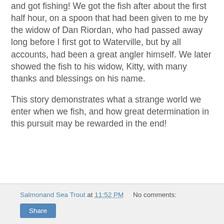and got fishing!  We got the fish after about the first half hour, on a spoon that had been given to me by the widow of Dan Riordan, who had passed away long before I first got to Waterville, but by all accounts, had been a great angler himself.  We later showed the fish to his widow, Kitty, with many thanks and blessings on his name.
This story demonstrates what a strange world we enter when we fish, and how great determination in this pursuit may be rewarded in the end!
Salmonand Sea Trout at 11:52 PM   No comments:   Share